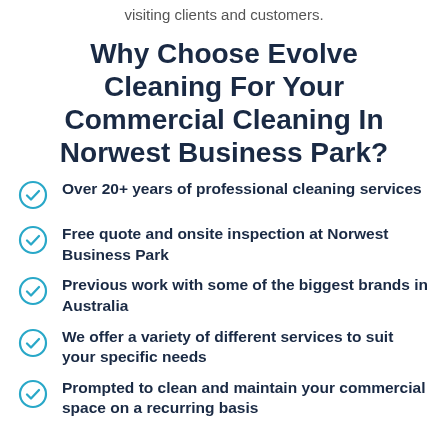visiting clients and customers.
Why Choose Evolve Cleaning For Your Commercial Cleaning In Norwest Business Park?
Over 20+ years of professional cleaning services
Free quote and onsite inspection at Norwest Business Park
Previous work with some of the biggest brands in Australia
We offer a variety of different services to suit your specific needs
Prompted to clean and maintain your commercial space on a recurring basis